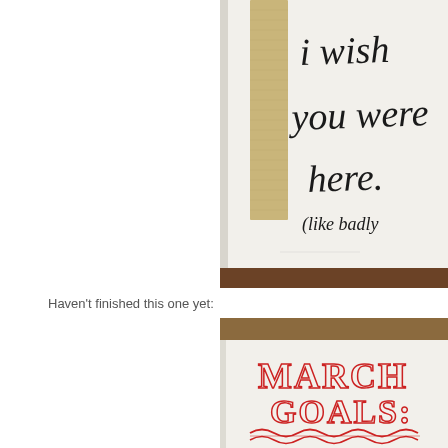[Figure (photo): Close-up photo of a notebook page with hand-lettered cursive text reading 'i wish you were here. (like badly' in black ink, with a strip of tan masking tape visible on the left side of the page, set against a wooden surface background.]
Haven't finished this one yet:
[Figure (photo): Photo of an open notebook page showing hand-lettered decorative text in red reading 'MARCH GOALS:' with ornate lettering and a decorative wavy underline, photographed on a wooden surface.]